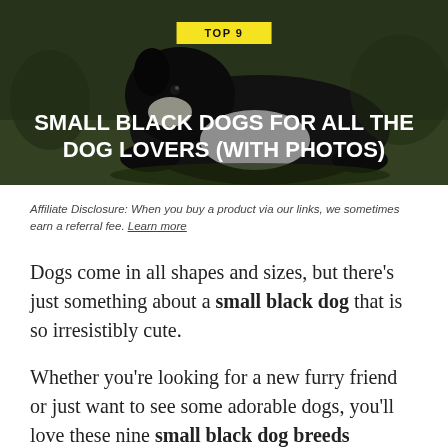[Figure (photo): Black and white dog lying on grass, used as hero background image]
SMALL BLACK DOGS FOR ALL THE DOG LOVERS (WITH PHOTOS)
Affiliate Disclosure: When you buy a product via our links, we sometimes earn a referral fee. Learn more
Dogs come in all shapes and sizes, but there’s just something about a small black dog that is so irresistibly cute.
Whether you’re looking for a new furry friend or just want to see some adorable dogs, you’ll love these nine small black dog breeds